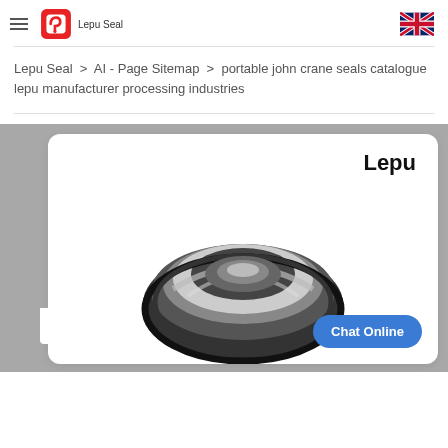Lepu Seal
Lepu Seal > AI - Page Sitemap > portable john crane seals catalogue lepu manufacturer processing industries
[Figure (photo): Product card showing a mechanical seal (john crane style) with 'Lepu' brand text in top right, set against a grey background. A 'Chat Online' button appears in the bottom right of the card.]